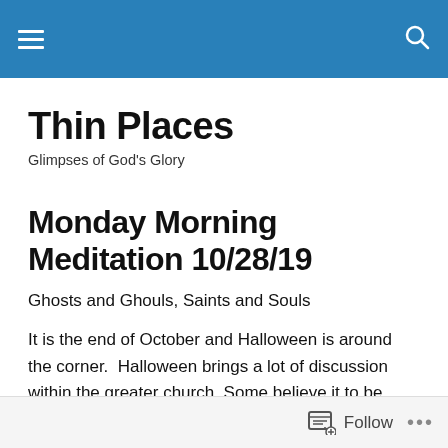Thin Places [navigation bar with hamburger menu and search icon]
Thin Places
Glimpses of God's Glory
Monday Morning Meditation 10/28/19
Ghosts and Ghouls, Saints and Souls
It is the end of October and Halloween is around the corner.  Halloween brings a lot of discussion within the greater church. Some believe it to be nothing more than a
Follow ...